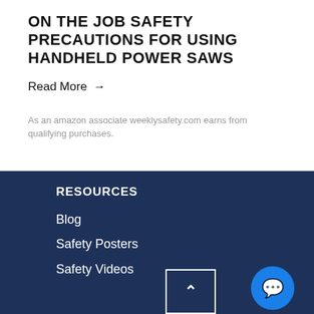ON THE JOB SAFETY PRECAUTIONS FOR USING HANDHELD POWER SAWS
Read More →
As an amazon associate weeklysafety.com earns from qualifying purchases.
RESOURCES
Blog
Safety Posters
Safety Videos